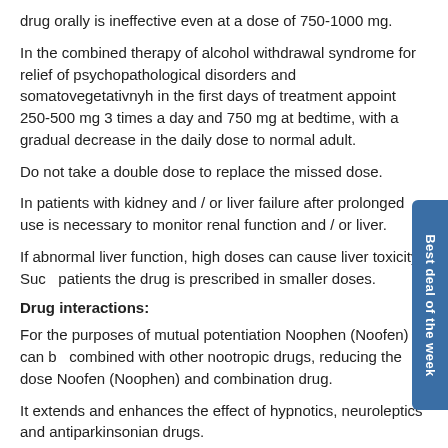drug orally is ineffective even at a dose of 750-1000 mg.
In the combined therapy of alcohol withdrawal syndrome for relief of psychopathological disorders and somatovegetativnyh in the first days of treatment appoint 250-500 mg 3 times a day and 750 mg at bedtime, with a gradual decrease in the daily dose to normal adult.
Do not take a double dose to replace the missed dose.
In patients with kidney and / or liver failure after prolonged use is necessary to monitor renal function and / or liver.
If abnormal liver function, high doses can cause liver toxicity. Such patients the drug is prescribed in smaller doses.
Drug interactions:
For the purposes of mutual potentiation Noophen (Noofen) can be combined with other nootropic drugs, reducing the dose Noofen (Noophen) and combination drug.
It extends and enhances the effect of hypnotics, neuroleptics and antiparkinsonian drugs.
Packaging:
Comes in original packaging. Item is brand new and